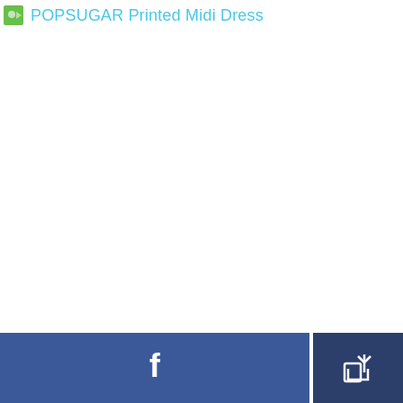POPSUGAR Printed Midi Dress
[Figure (photo): Large white/blank image area representing a product image placeholder for POPSUGAR Printed Midi Dress]
[Figure (other): Bottom bar with Facebook share button (blue, f icon) and a share/export button (dark blue, share icon)]